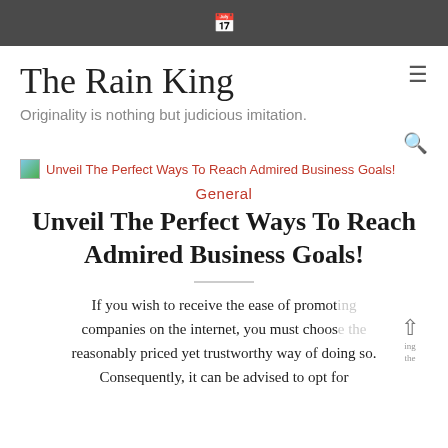🗓
The Rain King
Originality is nothing but judicious imitation.
Unveil The Perfect Ways To Reach Admired Business Goals!
General
Unveil The Perfect Ways To Reach Admired Business Goals!
If you wish to receive the ease of promoting companies on the internet, you must choose the reasonably priced yet trustworthy way of doing so. Consequently, it can be advised to opt for